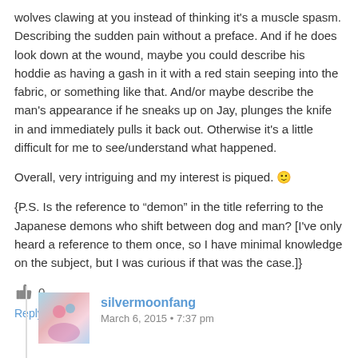wolves clawing at you instead of thinking it's a muscle spasm. Describing the sudden pain without a preface. And if he does look down at the wound, maybe you could describe his hoddie as having a gash in it with a red stain seeping into the fabric, or something like that. And/or maybe describe the man's appearance if he sneaks up on Jay, plunges the knife in and immediately pulls it back out. Otherwise it's a little difficult for me to see/understand what happened.
Overall, very intriguing and my interest is piqued. 🙂
{P.S. Is the reference to “demon” in the title referring to the Japanese demons who shift between dog and man? [I've only heard a reference to them once, so I have minimal knowledge on the subject, but I was curious if that was the case.]}
👍 0
Reply ↓
silvermoonfang
March 6, 2015 • 7:37 pm